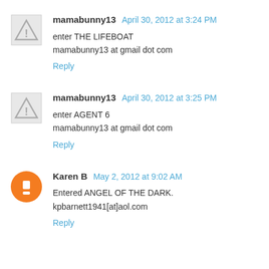mamabunny13  April 30, 2012 at 3:24 PM
enter THE LIFEBOAT
mamabunny13 at gmail dot com
Reply
mamabunny13  April 30, 2012 at 3:25 PM
enter AGENT 6
mamabunny13 at gmail dot com
Reply
Karen B  May 2, 2012 at 9:02 AM
Entered ANGEL OF THE DARK.
kpbarnett1941[at]aol.com
Reply